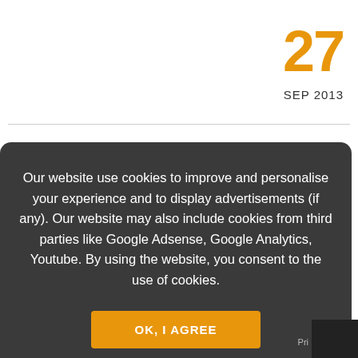27
SEP 2013
dis
Our website use cookies to improve and personalise your experience and to display advertisements (if any). Our website may also include cookies from third parties like Google Adsense, Google Analytics, Youtube. By using the website, you consent to the use of cookies.
OK, I AGREE
For people who use Symantec Netbackup as their backup client of choice (as I do) and running a